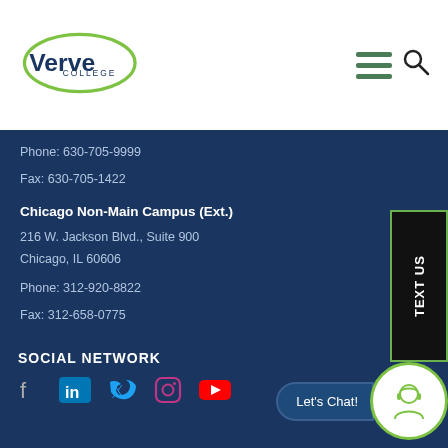[Figure (logo): Verve College logo with green oval outline and blue text]
Phone: 630-705-9999
Fax: 630-705-1422
Chicago Non-Main Campus (Ext.)
216 W. Jackson Blvd., Suite 900
Chicago, IL 60606
Phone: 312-920-8822
Fax: 312-658-0775
SOCIAL NETWORK
[Figure (infographic): Social media icons: Facebook, LinkedIn, Twitter, Instagram, YouTube]
Let's Chat!